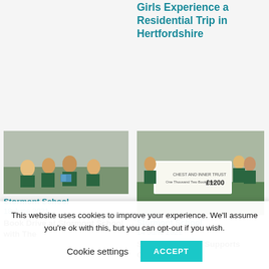Girls Experience a Residential Trip in Hertfordshire
[Figure (photo): Girls in green school uniforms sitting outside reading books]
Stormont School
18 June 2021
Book Drive at Stormont School with The
[Figure (photo): Girls in green school uniforms holding a large charity cheque for £1200]
Stormont School
14 June 2021
Stormont School Supports Others
This website uses cookies to improve your experience. We'll assume you're ok with this, but you can opt-out if you wish.
Cookie settings
ACCEPT